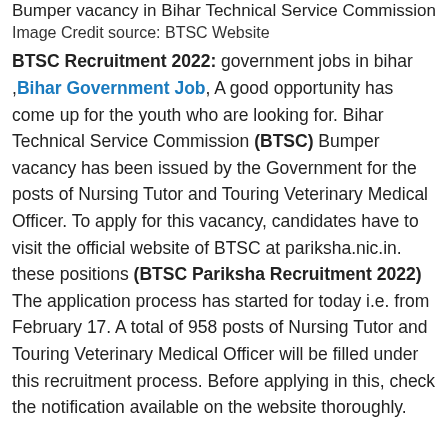Bumper vacancy in Bihar Technical Service Commission
Image Credit source: BTSC Website
BTSC Recruitment 2022: government jobs in bihar ,Bihar Government Job, A good opportunity has come up for the youth who are looking for. Bihar Technical Service Commission (BTSC) Bumper vacancy has been issued by the Government for the posts of Nursing Tutor and Touring Veterinary Medical Officer. To apply for this vacancy, candidates have to visit the official website of BTSC at pariksha.nic.in. these positions (BTSC Pariksha Recruitment 2022) The application process has started for today i.e. from February 17. A total of 958 posts of Nursing Tutor and Touring Veterinary Medical Officer will be filled under this recruitment process. Before applying in this, check the notification available on the website thoroughly.